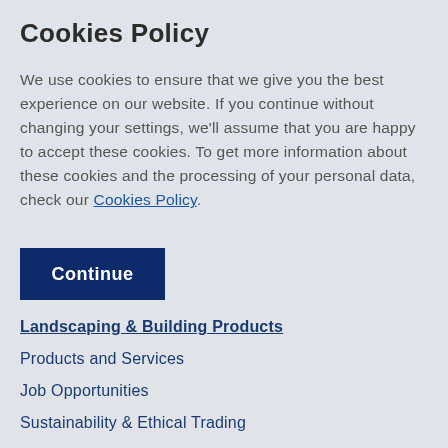Cookies Policy
We use cookies to ensure that we give you the best experience on our website. If you continue without changing your settings, we'll assume that you are happy to accept these cookies. To get more information about these cookies and the processing of your personal data, check our Cookies Policy.
Continue
Landscaping & Building Products
Products and Services
Job Opportunities
Sustainability & Ethical Trading
Safety, Health & Environment
Accreditations & Certifications
Terms and Conditions of Sale